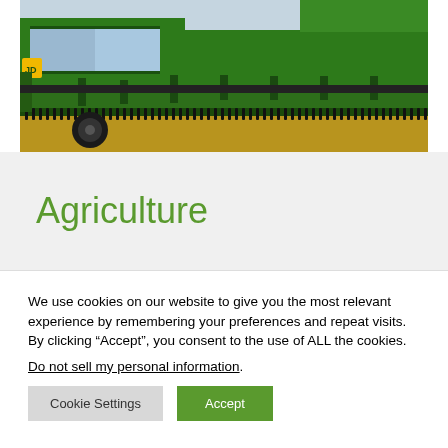[Figure (photo): A green John Deere combine harvester with a wide grain header cutting wheat in a field. The machine is viewed from the front-left side, showing the green cab, yellow logo area, and the wide harvesting header with the golden wheat field below.]
Agriculture
We use cookies on our website to give you the most relevant experience by remembering your preferences and repeat visits. By clicking “Accept”, you consent to the use of ALL the cookies.
Do not sell my personal information.
Cookie Settings
Accept